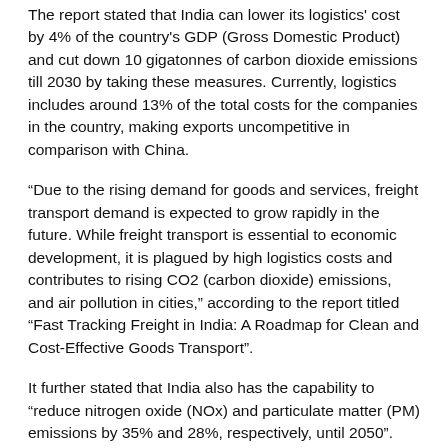The report stated that India can lower its logistics' cost by 4% of the country's GDP (Gross Domestic Product) and cut down 10 gigatonnes of carbon dioxide emissions till 2030 by taking these measures. Currently, logistics includes around 13% of the total costs for the companies in the country, making exports uncompetitive in comparison with China.
“Due to the rising demand for goods and services, freight transport demand is expected to grow rapidly in the future. While freight transport is essential to economic development, it is plagued by high logistics costs and contributes to rising CO2 (carbon dioxide) emissions, and air pollution in cities,” according to the report titled “Fast Tracking Freight in India: A Roadmap for Clean and Cost-Effective Goods Transport”.
It further stated that India also has the capability to “reduce nitrogen oxide (NOx) and particulate matter (PM) emissions by 35% and 28%, respectively, until 2050”.
“India handles 4.6 billion tonnes of goods each year, amounting to a